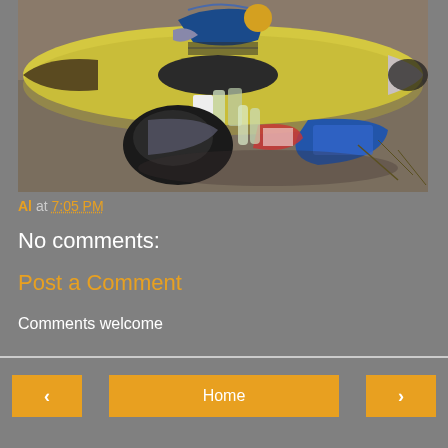[Figure (photo): Overhead view of a yellow kayak on sandy/muddy ground with trash and debris including black garbage bags, plastic bottles, and food packaging scattered on the ground beside it. A blue dry bag is secured to the bow of the kayak.]
Al at 7:05 PM
No comments:
Post a Comment
Comments welcome
‹   Home   ›